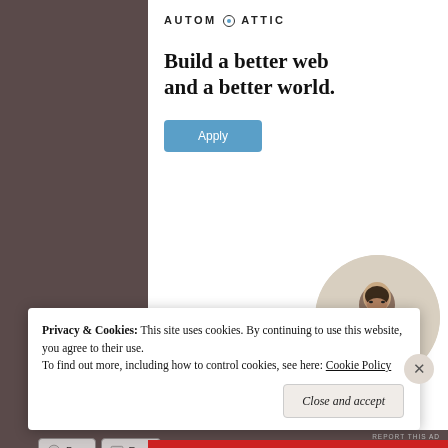[Figure (screenshot): Automattic advertisement banner with logo, headline 'Build a better web and a better world.', a blue Apply button, and a circular photo of a thinking man]
REPORT THIS AD
Share this:
[Figure (screenshot): Share buttons row: Twitter, Facebook, Tumblr, Pinterest]
Privacy & Cookies:  This site uses cookies. By continuing to use this website, you agree to their use.
To find out more, including how to control cookies, see here: Cookie Policy
Close and accept